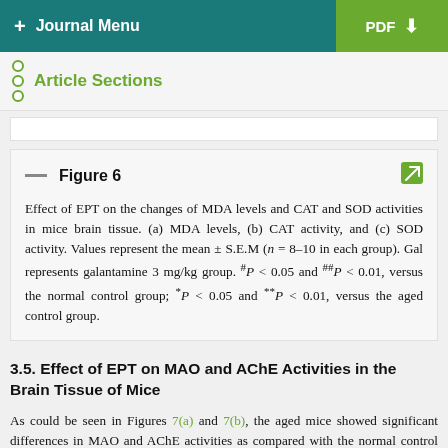+ Journal Menu   PDF ↓
Article Sections
Figure 6
Effect of EPT on the changes of MDA levels and CAT and SOD activities in mice brain tissue. (a) MDA levels, (b) CAT activity, and (c) SOD activity. Values represent the mean ± S.E.M (n = 8–10 in each group). Gal represents galantamine 3 mg/kg group. #P < 0.05 and ##P < 0.01, versus the normal control group; *P < 0.05 and **P < 0.01, versus the aged control group.
3.5. Effect of EPT on MAO and AChE Activities in the Brain Tissue of Mice
As could be seen in Figures 7(a) and 7(b), the aged mice showed significant differences in MAO and AChE activities as compared with the normal control mice (P < 0.05). On the